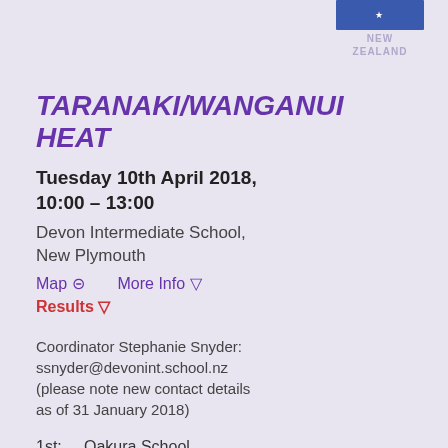[Figure (logo): New Zealand logo with blue flag rectangle and star, text 'NEW ZEALAND' below in light purple]
TARANAKI/WANGANUI HEAT
Tuesday 10th April 2018, 10:00 – 13:00
Devon Intermediate School, New Plymouth
Map ⊟     More Info ▽
Results ▽
Coordinator Stephanie Snyder: ssnyder@devonint.school.nz (please note new contact details as of 31 January 2018)
1st:  Oakura School
2nd:  Mangorei School, Team 1
3rd:  Wanganui Intermediate School, Team 1